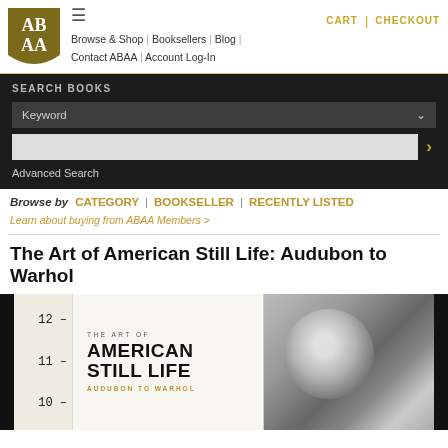ABAA logo | hamburger menu | Browse & Shop | Booksellers | Blog | Contact ABAA | Account Log-In | CART | CHECKOUT
SEARCH BOOKS
Keyword
Advanced Search
Browse by CATEGORY | BOOKSELLER | RECENTLY LISTED
Learn about buying from ABAA Members >
The Art of American Still Life: Audubon to Warhol
[Figure (photo): Book cover showing 'The Art of American Still Life: Audubon to Warhol' with a black-and-white photograph on the right side and numerical scale on the left side]